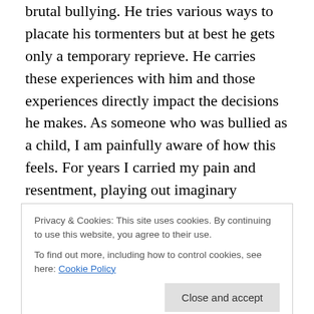brutal bullying. He tries various ways to placate his tormenters but at best he gets only a temporary reprieve. He carries these experiences with him and those experiences directly impact the decisions he makes. As someone who was bullied as a child, I am painfully aware of how this feels. For years I carried my pain and resentment, playing out imaginary scenarios where I confronted my tormenters and finally got even. Thankfully, I eventually realized how toxic this attitude is and learned how to let go of my resentment. But reading this certainly brought back the feelings for me. Anyone who has ever
Privacy & Cookies: This site uses cookies. By continuing to use this website, you agree to their use.
To find out more, including how to control cookies, see here: Cookie Policy
his impression upon first seeing a prison. It is almost like